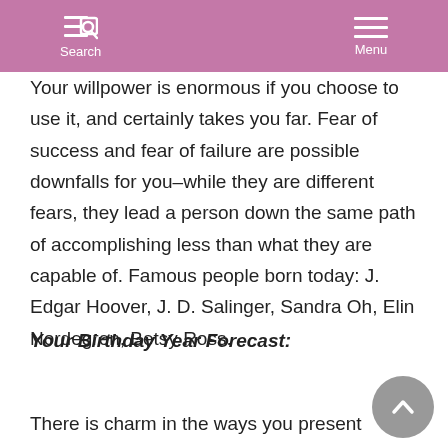Search Menu
Your willpower is enormous if you choose to use it, and certainly takes you far. Fear of success and fear of failure are possible downfalls for you–while they are different fears, they lead a person down the same path of accomplishing less than what they are capable of. Famous people born today: J. Edgar Hoover, J. D. Salinger, Sandra Oh, Elin Nordegren, Betsy Ross.
Your Birthday Year Forecast:
There is charm in the ways you present your ideas this year,